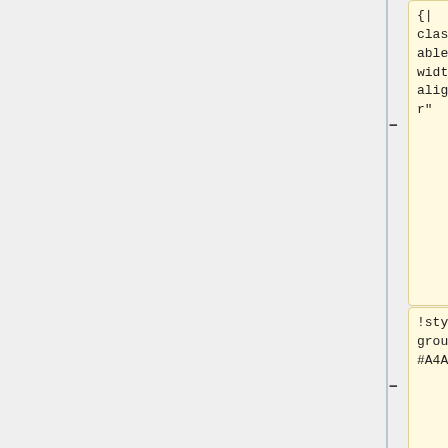[Figure (screenshot): A diff/code view showing wiki markup with two columns. Left column contains code snippets in yellow boxes: '{| class="wikitable" width=100% align="center"', '!style="background: #A4A4A4;"|', '|-', '| style="background:#cef2e0; align=left; padding:3px 7px 3px 7px;"|'. Right column shows a blue-highlighted box with '[[Documentation:Moodle_Support_Resources/Wiki | Wiki]]'. Minus and plus markers indicate diff changes.]